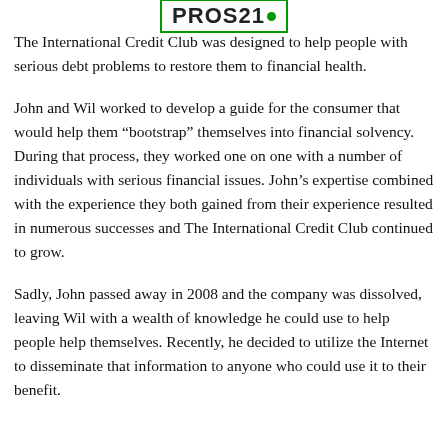PROS21
The International Credit Club was designed to help people with serious debt problems to restore them to financial health.
John and Wil worked to develop a guide for the consumer that would help them “bootstrap” themselves into financial solvency. During that process, they worked one on one with a number of individuals with serious financial issues. John’s expertise combined with the experience they both gained from their experience resulted in numerous successes and The International Credit Club continued to grow.
Sadly, John passed away in 2008 and the company was dissolved, leaving Wil with a wealth of knowledge he could use to help people help themselves. Recently, he decided to utilize the Internet to disseminate that information to anyone who could use it to their benefit.